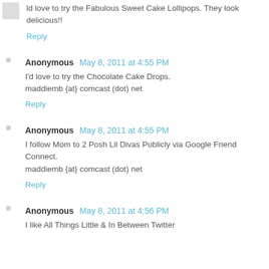Id love to try the Fabulous Sweet Cake Lollipops. They look delicious!!
Reply
Anonymous May 8, 2011 at 4:55 PM
I'd love to try the Chocolate Cake Drops.
maddiemb {at} comcast (dot) net
Reply
Anonymous May 8, 2011 at 4:55 PM
I follow Mom to 2 Posh Lil Divas Publicly via Google Friend Connect.
maddiemb {at} comcast (dot) net
Reply
Anonymous May 8, 2011 at 4:56 PM
I like All Things Little & In Between Twitter